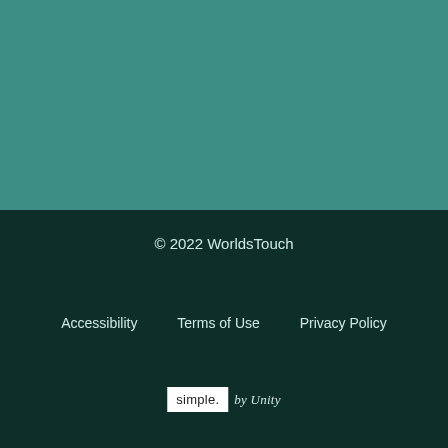[Figure (other): Solid teal/green colored background block filling the top half of the page]
© 2022 WorldsTouch
Accessibility   Terms of Use   Privacy Policy
[Figure (logo): simple. by Unity logo — 'simple.' in a white rectangle and 'by Unity' in italic teal text alongside]